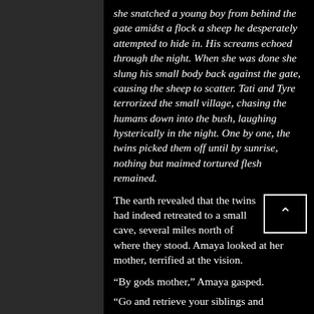she snatched a young boy from behind the gate amidst a flock a sheep he desperately attempted to hide in. His screams echoed through the night. When she was done she slung his small body back against the gate, causing the sheep to scatter. Tati and Tyre terrorized the small village, chasing the humans down into the bush, laughing hysterically in the night. One by one, the twins picked them off until by sunrise, nothing but maimed tortured flesh remained.
The earth revealed that the twins had indeed retreated to a small cave, several miles north of where they stood. Amaya looked at her mother, terrified at the vision.
“By gods mother,” Amaya gasped.
“Go and retrieve your siblings and